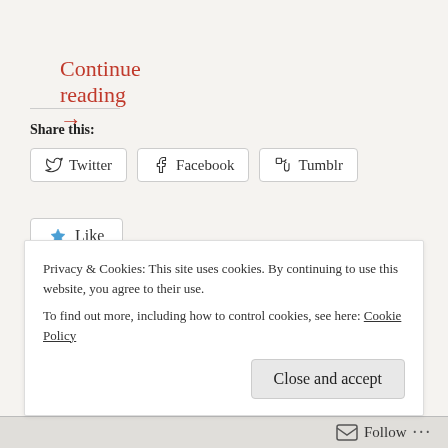Continue reading →
Share this:
Twitter  Facebook  Tumblr
Like  Be the first to like this.
Posted in Episodes, Movies, Podcasts, TV, Wrestling •
Tagged 1991, BodySlam, JC, Jesse Ventura, Lumberjake,
Privacy & Cookies: This site uses cookies. By continuing to use this website, you agree to their use. To find out more, including how to control cookies, see here: Cookie Policy
Close and accept
Follow ...